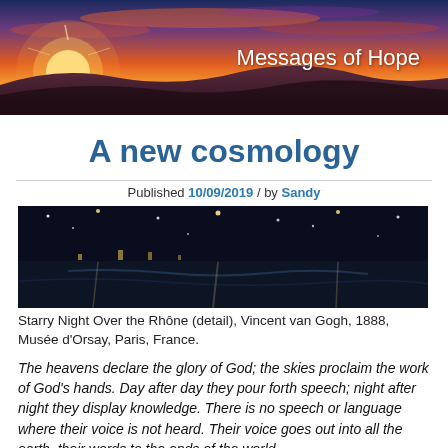[Figure (photo): Sunset/sunrise landscape banner photo with orange and purple sky, hills in background. Text 'Messages of Hope' overlaid on the right side in white.]
A new cosmology
Published 10/09/2019 / by Sandy
[Figure (photo): Starry Night Over the Rhône (detail) by Vincent van Gogh, 1888 — painting showing night river scene with stars. Image appears blank/placeholder in this view.]
Starry Night Over the Rhône (detail), Vincent van Gogh, 1888, Musée d'Orsay, Paris, France.
The heavens declare the glory of God; the skies proclaim the work of God's hands. Day after day they pour forth speech; night after night they display knowledge. There is no speech or language where their voice is not heard. Their voice goes out into all the earth, their words to the ends of the world.